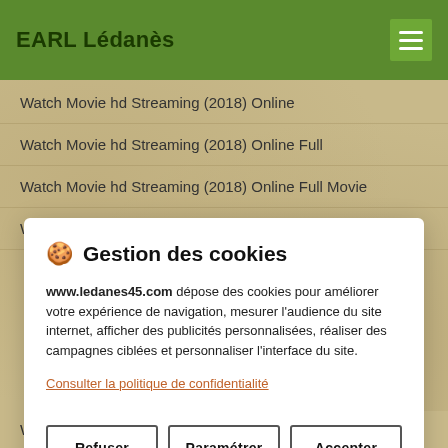EARL Lédanès
Watch Movie hd Streaming (2018) Online
Watch Movie hd Streaming (2018) Online Full
Watch Movie hd Streaming (2018) Online Full Movie
Watch Movie hd Streaming (2018) Online HDQ
🍪 Gestion des cookies
www.ledanes45.com dépose des cookies pour améliorer votre expérience de navigation, mesurer l'audience du site internet, afficher des publicités personnalisées, réaliser des campagnes ciblées et personnaliser l'interface du site.
Consulter la politique de confidentialité
Refuser | Paramétrer | Accepter
Watch Movie hd Streaming (2018) Online Cinemablend